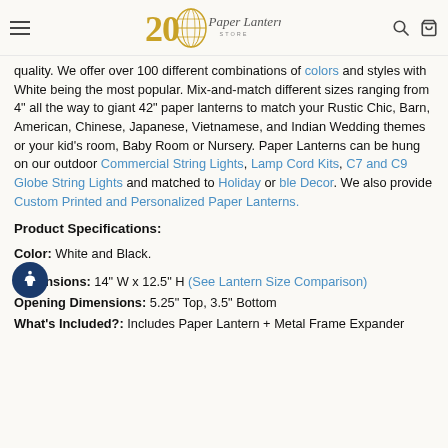Paper Lantern Store — 20th Anniversary
quality. We offer over 100 different combinations of colors and styles with White being the most popular. Mix-and-match different sizes ranging from 4" all the way to giant 42" paper lanterns to match your Rustic Chic, Barn, American, Chinese, Japanese, Vietnamese, and Indian Wedding themes or your kid's room, Baby Room or Nursery. Paper Lanterns can be hung on our outdoor Commercial String Lights, Lamp Cord Kits, C7 and C9 Globe String Lights and matched to Holiday or Holiday Decor. We also provide Custom Printed and Personalized Paper Lanterns.
Product Specifications:
Color: White and Black.
Dimensions: 14" W x 12.5" H (See Lantern Size Comparison)
Opening Dimensions: 5.25" Top, 3.5" Bottom
What's Included?: Includes Paper Lantern + Metal Frame Expander